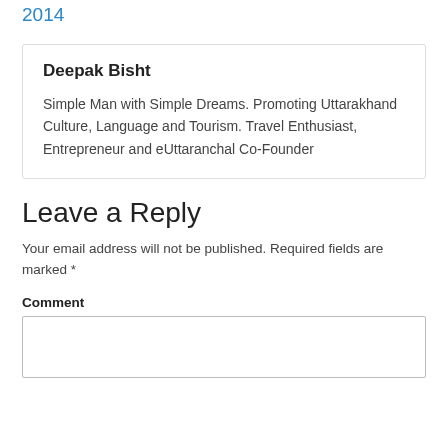2014
Deepak Bisht

Simple Man with Simple Dreams. Promoting Uttarakhand Culture, Language and Tourism. Travel Enthusiast, Entrepreneur and eUttaranchal Co-Founder
Leave a Reply
Your email address will not be published. Required fields are marked *
Comment